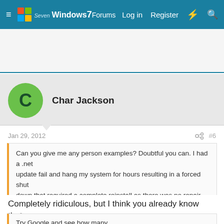Windows 7 Forums — Log in  Register
[Figure (screenshot): Ad banner area (blank/white)]
Char Jackson
Jan 29, 2012   #6
Can you give me any person examples? Doubtful you can. I had a .net update fail and hang my system for hours resulting in a forced shut down that required a complete reinstall as there was no repair option or any other fix anywhere to be found.
Completely ridiculous, but I think you already know that.
Try Google and see how many